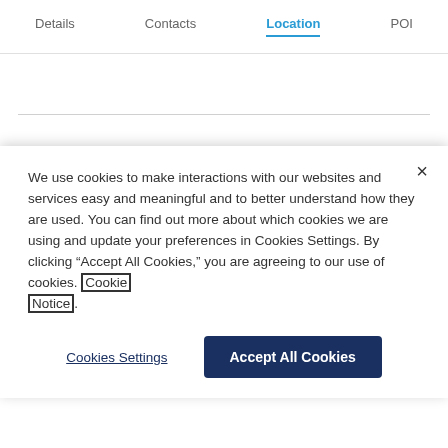Details   Contacts   Location   POI
Frequently Asked Questions
What is the total area of the 47,412 SF
We use cookies to make interactions with our websites and services easy and meaningful and to better understand how they are used. You can find out more about which cookies we are using and update your preferences in Cookies Settings. By clicking “Accept All Cookies,” you are agreeing to our use of cookies. Cookie Notice.
Cookies Settings
Accept All Cookies